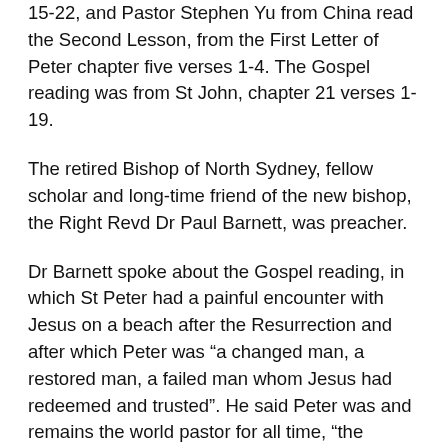15-22, and Pastor Stephen Yu from China read the Second Lesson, from the First Letter of Peter chapter five verses 1-4. The Gospel reading was from St John, chapter 21 verses 1-19.
The retired Bishop of North Sydney, fellow scholar and long-time friend of the new bishop, the Right Revd Dr Paul Barnett, was preacher.
Dr Barnett spoke about the Gospel reading, in which St Peter had a painful encounter with Jesus on a beach after the Resurrection and after which Peter was “a changed man, a restored man, a failed man whom Jesus had redeemed and trusted”. He said Peter was and remains the world pastor for all time, “the paradigm pastor”.
“What we are thinking about here is Gospel humility –